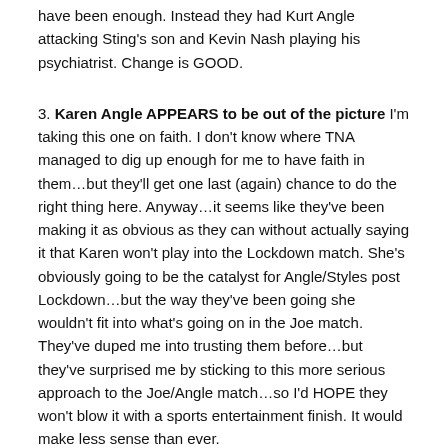have been enough. Instead they had Kurt Angle attacking Sting's son and Kevin Nash playing his psychiatrist. Change is GOOD.
3. Karen Angle APPEARS to be out of the picture I'm taking this one on faith. I don't know where TNA managed to dig up enough for me to have faith in them…but they'll get one last (again) chance to do the right thing here. Anyway…it seems like they've been making it as obvious as they can without actually saying it that Karen won't play into the Lockdown match. She's obviously going to be the catalyst for Angle/Styles post Lockdown…but the way they've been going she wouldn't fit into what's going on in the Joe match. They've duped me into trusting them before…but they've surprised me by sticking to this more serious approach to the Joe/Angle match…so I'd HOPE they won't blow it with a sports entertainment finish. It would make less sense than ever.
So we've got Angle preparing to prove that he is the better wrestler one on one against Joe. We've got Joe preparing for his do or die chance at the title. We've got a cage that I think actually will allow them to just have a straight match. And we've got TNA taking an approach to the